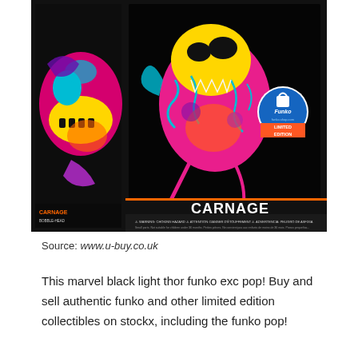[Figure (photo): Funko Pop! Carnage Black Light Limited Edition bobble-head figure in packaging. The box shows a neon-colored Carnage character (Marvel) with pink, yellow, blue, and purple colors on a black background. A Funko shop Limited Edition badge is visible on the right side. The box reads: CARNAGE, BOBBLE-HEAD / FIGURINE À TÊTE OSCILLANTE / FIGURA CON CABEZA OSCILANTE, with warning labels at the bottom.]
Source: www.u-buy.co.uk
This marvel black light thor funko exc pop! Buy and sell authentic funko and other limited edition collectibles on stockx, including the funko pop!